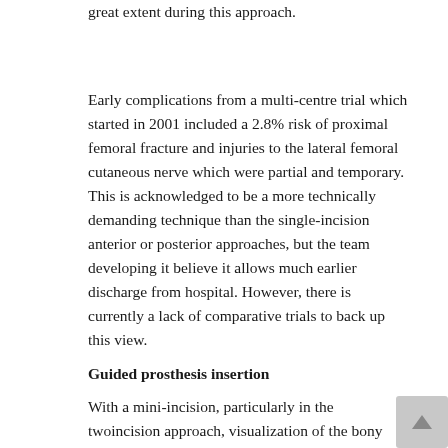great extent during this approach.
Early complications from a multi-centre trial which started in 2001 included a 2.8% risk of proximal femoral fracture and injuries to the lateral femoral cutaneous nerve which were partial and temporary. This is acknowledged to be a more technically demanding technique than the single-incision anterior or posterior approaches, but the team developing it believe it allows much earlier discharge from hospital. However, there is currently a lack of comparative trials to back up this view.
Guided prosthesis insertion
With a mini-incision, particularly in the twoincision approach, visualization of the bony